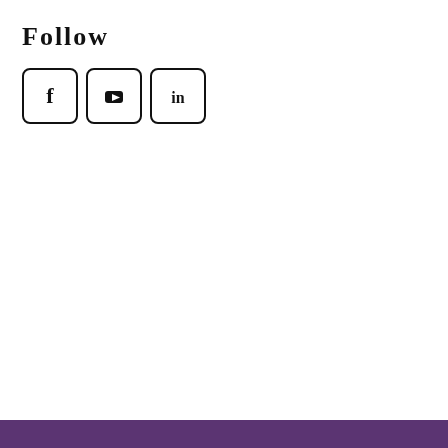Follow
[Figure (infographic): Three social media icon buttons in rounded rectangles: Facebook (f), YouTube (play button), LinkedIn (in)]